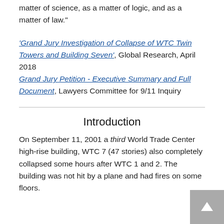matter of science, as a matter of logic, and as a matter of law."
'Grand Jury Investigation of Collapse of WTC Twin Towers and Building Seven', Global Research, April 2018
Grand Jury Petition - Executive Summary and Full Document, Lawyers Committee for 9/11 Inquiry
Introduction
On September 11, 2001 a third World Trade Center high-rise building, WTC 7 (47 stories) also completely collapsed some hours after WTC 1 and 2. The building was not hit by a plane and had fires on some floors.